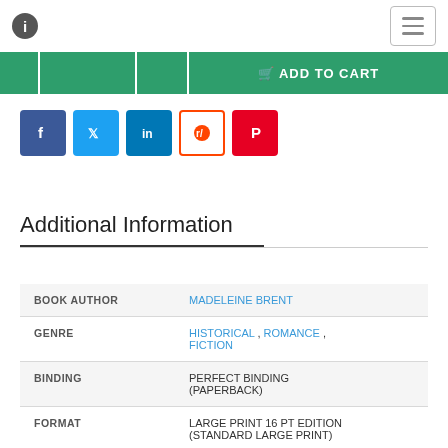[Figure (screenshot): Top navigation bar with info icon and hamburger menu button]
[Figure (screenshot): Green button bar showing ADD TO CART and other action buttons]
[Figure (screenshot): Social share icons row: Facebook, Twitter, LinkedIn, Reddit, Pinterest]
Additional Information
| FIELD | VALUE |
| --- | --- |
| BOOK AUTHOR | MADELEINE BRENT |
| GENRE | HISTORICAL , ROMANCE , FICTION |
| BINDING | PERFECT BINDING (PAPERBACK) |
| FORMAT | LARGE PRINT 16 PT EDITION (STANDARD LARGE PRINT) |
| ISBN | 9781459650626 |